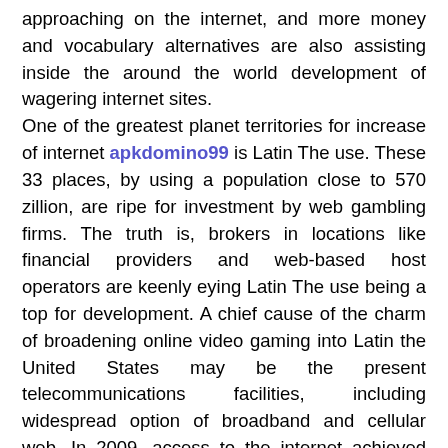approaching on the internet, and more money and vocabulary alternatives are also assisting inside the around the world development of wagering internet sites. One of the greatest planet territories for increase of internet apkdomino99 is Latin The use. These 33 places, by using a population close to 570 zillion, are ripe for investment by web gambling firms. The truth is, brokers in locations like financial providers and web-based host operators are keenly eying Latin The use being a top for development. A chief cause of the charm of broadening online video gaming into Latin the United States may be the present telecommunications facilities, including widespread option of broadband and cellular web. In 2009, access to the internet achieved practically 200 mil Latin Americans, and yes it was growing at a clip of 30% per year. Mobile phone online gambling appears to have the